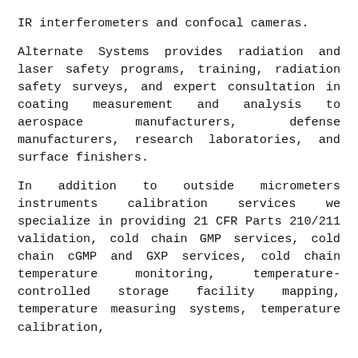IR interferometers and confocal cameras.
Alternate Systems provides radiation and laser safety programs, training, radiation safety surveys, and expert consultation in coating measurement and analysis to aerospace manufacturers, defense manufacturers, research laboratories, and surface finishers.
In addition to outside micrometers instruments calibration services we specialize in providing 21 CFR Parts 210/211 validation, cold chain GMP services, cold chain cGMP and GXP services, cold chain temperature monitoring, temperature-controlled storage facility mapping, temperature measuring systems, temperature calibration,